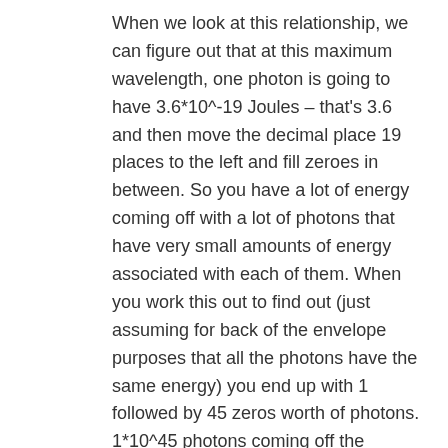When we look at this relationship, we can figure out that at this maximum wavelength, one photon is going to have 3.6*10^-19 Joules – that's 3.6 and then move the decimal place 19 places to the left and fill zeroes in between. So you have a lot of energy coming off with a lot of photons that have very small amounts of energy associated with each of them. When you work this out to find out (just assuming for back of the envelope purposes that all the photons have the same energy) you end up with 1 followed by 45 zeros worth of photons. 1*10^45 photons coming off the surface of the Sun.
Fraser: But I guess we have to put in for the fact that we're really, really far away from those stars.
Pamela: So all those photons spread out over space and by the time they get to the Earth and we consider just how many photons are entering our